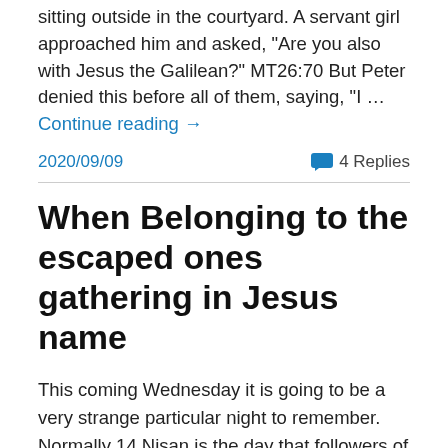sitting outside in the courtyard. A servant girl approached him and asked, “Are you also with Jesus the Galilean?” MT26:70 But Peter denied this before all of them, saying, “I … Continue reading →
2020/09/09
4 Replies
When Belonging to the escaped ones gathering in Jesus name
This coming Wednesday it is going to be a very strange particular night to remember. Normally 14 Nisan is the day that followers of the Nazarene master teacher remember the night that Jesus came together with his close disciples to commemorate the liberation of the People of God. As a